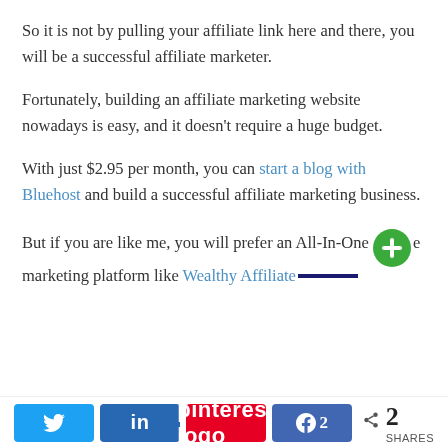So it is not by pulling your affiliate link here and there, you will be a successful affiliate marketer.
Fortunately, building an affiliate marketing website nowadays is easy, and it doesn't require a huge budget.
With just $2.95 per month, you can start a blog with Bluehost and build a successful affiliate marketing business.
But if you are like me, you will prefer an All-In-One marketing platform like Wealthy Affiliate
[Figure (other): Social sharing bar with Twitter, LinkedIn, Pinterest, Facebook (showing 2 shares) buttons, and a share count of 2 SHARES]